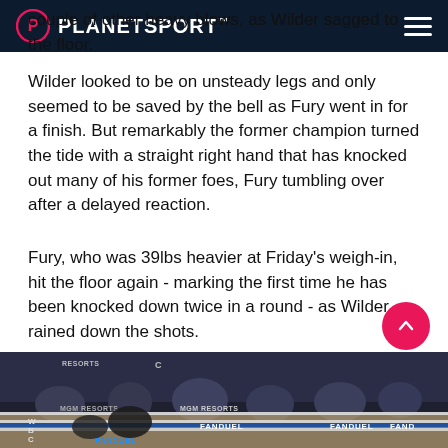PLANETSPORT
couple of other heavy blows, as Wilder sagged to the floor.
Wilder looked to be on unsteady legs and only seemed to be saved by the bell as Fury went in for a finish. But remarkably the former champion turned the tide with a straight right hand that has knocked out many of his former foes, Fury tumbling over after a delayed reaction.
Fury, who was 39lbs heavier at Friday's weigh-in, hit the floor again - marking the first time he has been knocked down twice in a round - as Wilder rained down the shots.
[Figure (photo): Boxing ring scene showing fighters with MGM Resorts and FanDuel sponsorship signage on the ring ropes, with WBC branding visible]